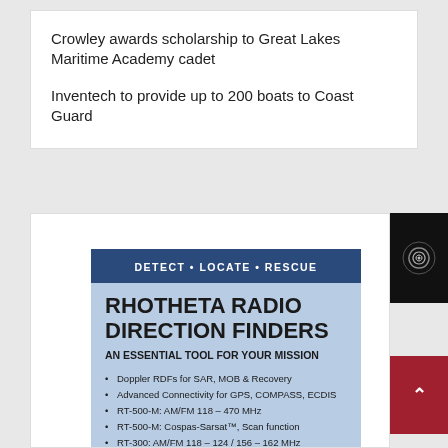Crowley awards scholarship to Great Lakes Maritime Academy cadet
Inventech to provide up to 200 boats to Coast Guard
[Figure (advertisement): Rhotheta Radio Direction Finders advertisement. Header: DETECT • LOCATE • RESCUE. Title: RHOTHETA RADIO DIRECTION FINDERS. Subtitle: AN ESSENTIAL TOOL FOR YOUR MISSION. Bullet points: Doppler RDFs for SAR, MOB & Recovery; Advanced Connectivity for GPS, COMPASS, ECDIS; RT-500-M: AM/FM 118 – 470 MHz; RT-500-M: Cospas-Sarsat™, Scan function; RT-300: AM/FM 118 – 124 / 156 – 162 MHz]